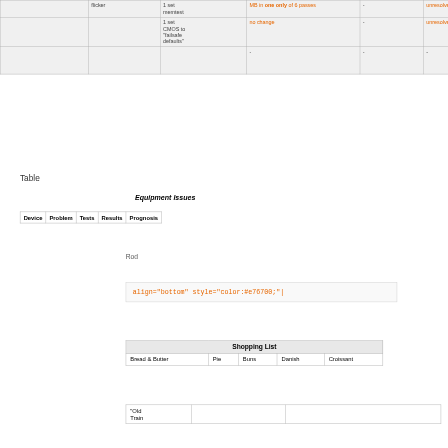|  |  | Tests | Results |  | unresolved |
| --- | --- | --- | --- | --- | --- |
|  | flicker | 1 set memtest | MB in one only of 6 passes | - | unresolved |
|  |  | 1 set CMOS to "failsafe defaults" | no change | - | unresolved |
|  |  |  | - | - | - |
Table
Equipment Issues
| Device | Problem | Tests | Results | Prognosis |
| --- | --- | --- | --- | --- |
Rod
align="bottom" style="color:#e76700;"|
| Shopping List |
| --- |
| Bread & Butter | Pie | Buns | Danish | Croissant |
| "Old Train |  |  |